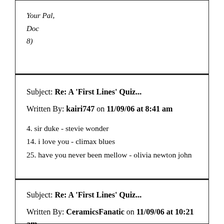Your Pal,
Doc
8)
Subject: Re: A 'First Lines' Quiz...
Written By: kairi747 on 11/09/06 at 8:41 am
4.  sir duke - stevie wonder
14.  i love you - climax blues
25. have you never been mellow - olivia newton john
Subject: Re: A 'First Lines' Quiz...
Written By: CeramicsFanatic on 11/09/06 at 10:21 am